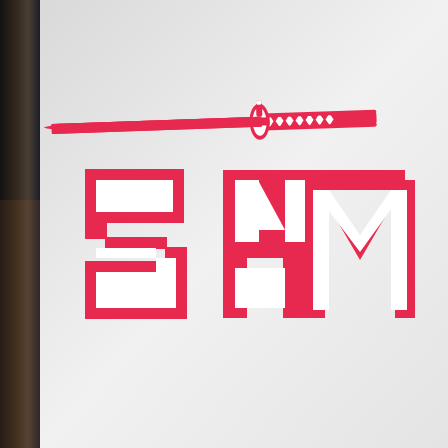[Figure (logo): Partial logo showing a pink/red katana sword icon above bold stylized text reading 'SAM' (partially cropped) in white with pink outline, on a light gray textured background. Left edge has a dark photographic strip.]